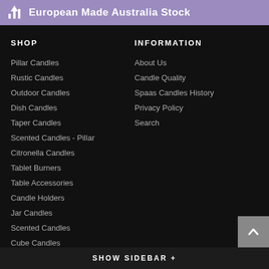European Made Australia Stock
SHOP
Pillar Candles
Rustic Candles
Outdoor Candles
Dish Candles
Taper Candles
Scented Candles - Pillar
Citronella Candles
Tablet Burners
Table Accessories
Candle Holders
Jar Candles
Scented Candles
Cube Candles
Tin Candles
Tealight Candles
INFORMATION
About Us
Candle Quality
Spaas Candles History
Privacy Policy
Search
SHOW SIDEBAR +